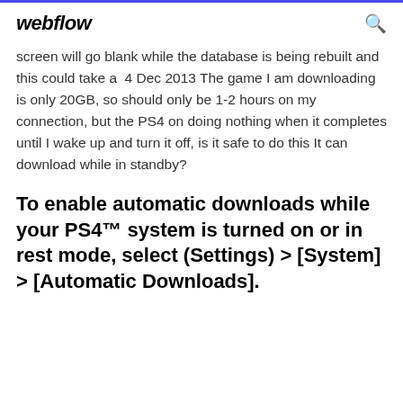webflow
screen will go blank while the database is being rebuilt and this could take a  4 Dec 2013 The game I am downloading is only 20GB, so should only be 1-2 hours on my connection, but the PS4 on doing nothing when it completes until I wake up and turn it off, is it safe to do this It can download while in standby?
To enable automatic downloads while your PS4™ system is turned on or in rest mode, select (Settings) > [System] > [Automatic Downloads].